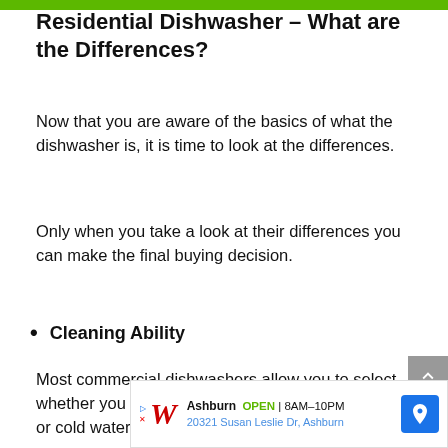Residential Dishwasher – What are the Differences?
Now that you are aware of the basics of what the dishwasher is, it is time to look at the differences.
Only when you take a look at their differences you can make the final buying decision.
Cleaning Ability
Most commercial dishwashers allow you to select whether you want to clean the utensils with hot water or cold water.
[Figure (infographic): Walgreens advertisement banner showing store location in Ashburn, open 8AM-10PM, address 20321 Susan Leslie Dr, Ashburn, with navigation icon]